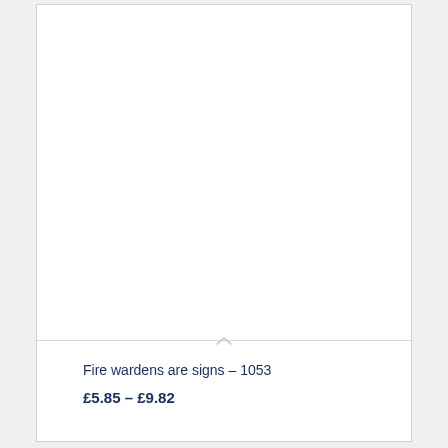[Figure (photo): Product image area (blank/white) for fire warden signs product]
Fire wardens are signs – 1053
£5.85 – £9.82